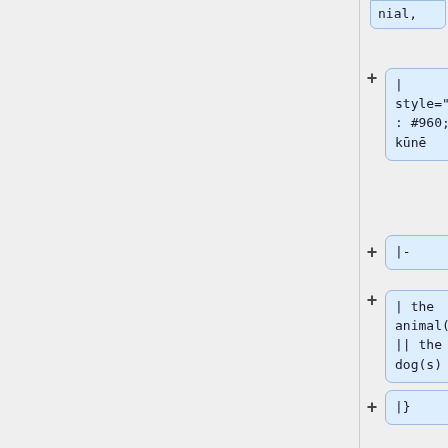nial,
| style="color: #960;" | kūnē
|-
| the animal(s), || the dog(s)
|}
The meaning of a compound is opaque. For some